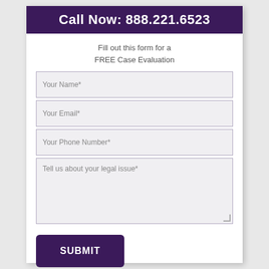Call Now: 888.221.6523
Fill out this form for a FREE Case Evaluation
Your Name*
Your Email*
Your Phone Number*
Tell us about your legal issue*
SUBMIT